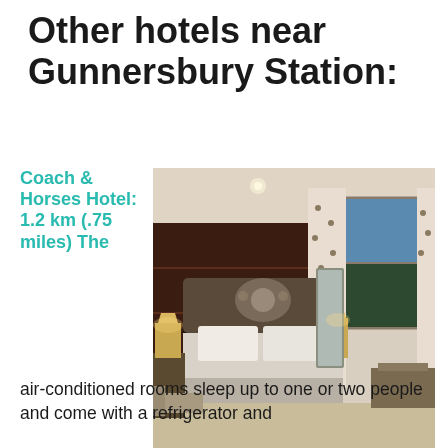Other hotels near Gunnersbury Station:
Coach & Horses Hotel: 1.2 km (.75 miles) The air-conditioned rooms sleep up to one or two people and come with a refrigerator and
[Figure (photo): Hotel bedroom with a large bed featuring a floral-pattern headboard and curtains, dark wood panelling on the wall, bedside lamps, a chaise longue, a full-length mirror, and a window with a view of outdoors. Warm, cozy lighting.]